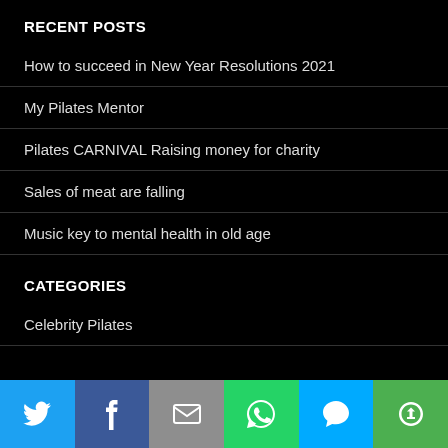RECENT POSTS
How to succeed in New Year Resolutions 2021
My Pilates Mentor
Pilates CARNIVAL Raising money for charity
Sales of meat are falling
Music key to mental health in old age
CATEGORIES
Celebrity Pilates
[Figure (infographic): Social sharing bar with six buttons: Twitter (blue bird), Facebook (white f on dark blue), Email (envelope on grey), WhatsApp (phone icon on green), SMS (speech bubble on light blue), More (circular arrows on green)]